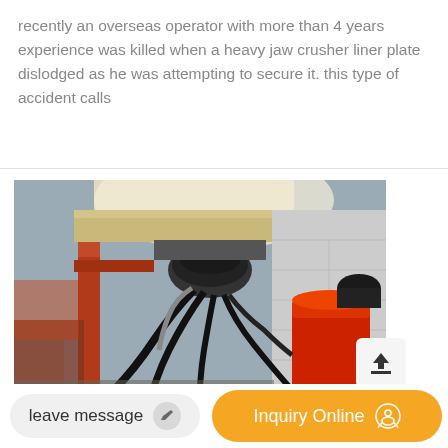recently an overseas operator with more than 4 years experience was killed when a heavy jaw crusher liner plate dislodged as he was attempting to secure it. this type of accident calls
[Figure (photo): Industrial machinery photo showing heavy equipment with red hydraulic jack/cylinder, black hoses and cables, metal frame structure, and concrete block wall in background]
leave message
Inquiry Online